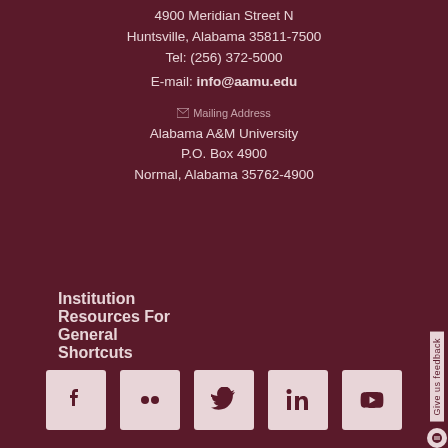4900 Meridian Street N
Huntsville, Alabama  35811-7500
Tel: (256) 372-5000
E-mail: info@aamu.edu
✉ Mailing Address
Alabama A&M University
P.O. Box  4900
Normal, Alabama  35762-4900
Institution
Resources For
General
Shortcuts
Give us feedback
[Figure (other): Social media icons: Facebook, Flickr, Twitter, LinkedIn, YouTube]